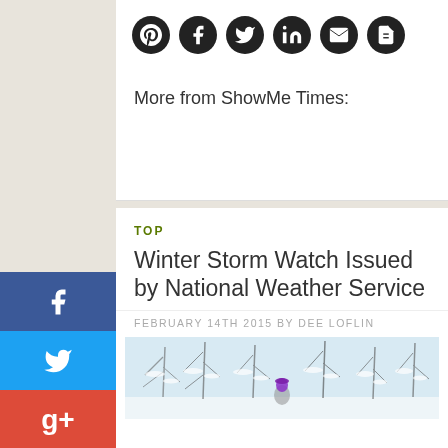[Figure (other): Row of 6 dark circular social sharing icons: Pinterest, Facebook, Twitter, LinkedIn, Email, PDF]
More from ShowMe Times:
TOP
Winter Storm Watch Issued by National Weather Service
FEBRUARY 14TH 2015 BY DEE LOFLIN
[Figure (photo): Winter snow scene with snow-covered trees and a person with a purple hat]
[Figure (other): Left sidebar social sharing buttons: Facebook (blue), Twitter (light blue), Google+ (red)]